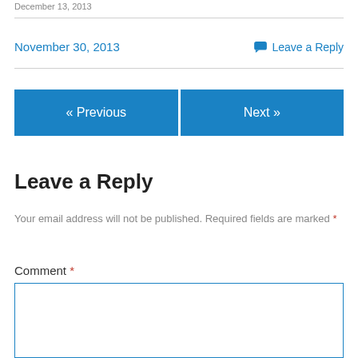December 13, 2013
November 30, 2013   Leave a Reply
« Previous   Next »
Leave a Reply
Your email address will not be published. Required fields are marked *
Comment *